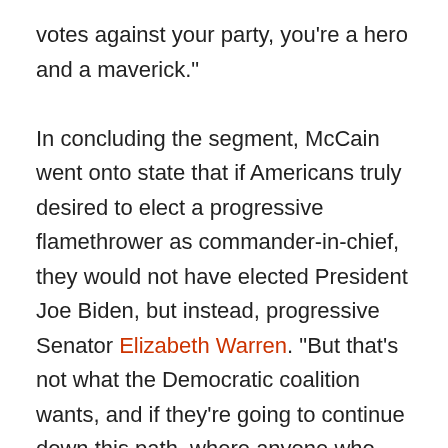votes against your party, you're a hero and a maverick."

In concluding the segment, McCain went onto state that if Americans truly desired to elect a progressive flamethrower as commander-in-chief, they would not have elected President Joe Biden, but instead, progressive Senator Elizabeth Warren. "But that's not what the Democratic coalition wants, and if they're going to continue down this path, where anyone who thinks differently of them is bloodletted out and seen as a heretic," McCain said, "you're going to have the same problem on your side that I'm having on mine."